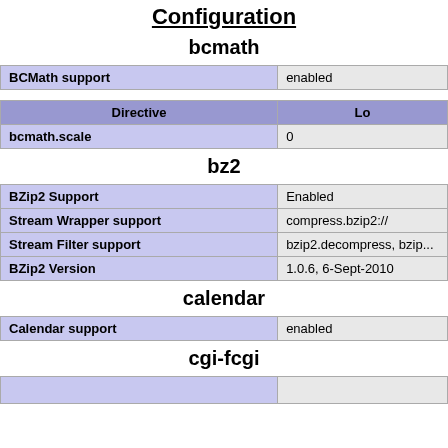Configuration
bcmath
| BCMath support | enabled |
| Directive | Lo... |
| --- | --- |
| bcmath.scale | 0 |
bz2
| BZip2 Support | Enabled |
| Stream Wrapper support | compress.bzip2:// |
| Stream Filter support | bzip2.decompress, bzip... |
| BZip2 Version | 1.0.6, 6-Sept-2010 |
calendar
| Calendar support | enabled |
cgi-fcgi